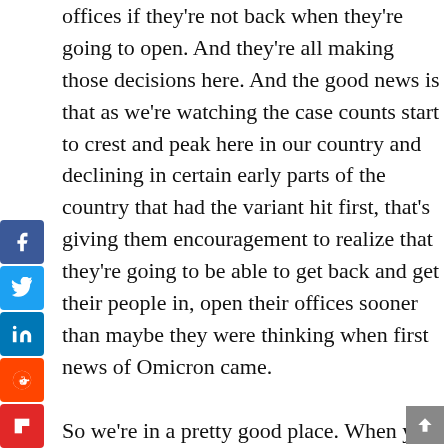offices if they're not back when they're going to open. And they're all making those decisions here. And the good news is that as we're watching the case counts start to crest and peak here in our country and declining in certain early parts of the country that had the variant hit first, that's giving them encouragement to realize that they're going to be able to get back and get their people in, open their offices sooner than maybe they were thinking when first news of Omicron came.
So we're in a pretty good place. When you think about the trajectory we saw over the fourth quarter, we saw really nice growth in business both small business as well as big corporates. And small businesses, as we pointed out at the Investor Day, is something we haven't talked as about much historically, but it's just a big pull and it's the corporate spaces for us. And then